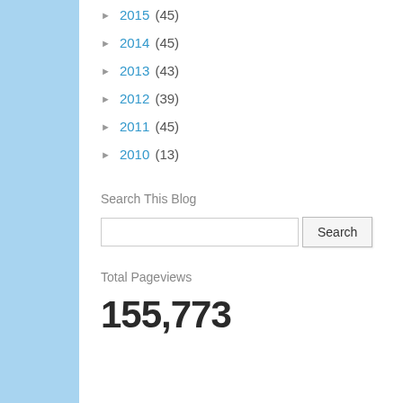► 2015 (45)
► 2014 (45)
► 2013 (43)
► 2012 (39)
► 2011 (45)
► 2010 (13)
Search This Blog
Total Pageviews
155,773